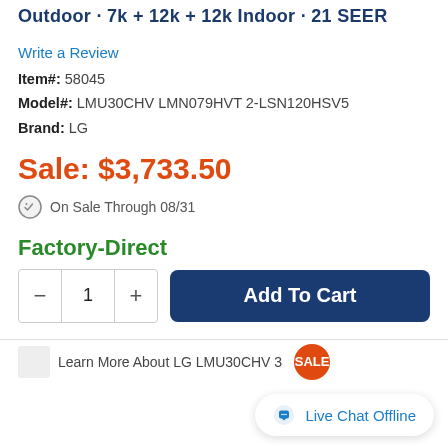Outdoor · 7k + 12k + 12k Indoor · 21 SEER
Write a Review
Item#: 58045
Model#: LMU30CHV LMN079HVT 2-LSN120HSV5
Brand: LG
Sale: $3,733.50
On Sale Through 08/31
Factory-Direct
[Figure (other): Quantity selector with minus and plus buttons showing quantity 1, and a dark blue Add To Cart button]
[Figure (other): Live Chat Offline button with chat bubble icon in bottom right]
Learn More About LG LMU30CHV 3